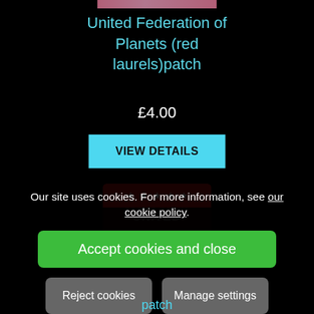[Figure (photo): Top partial product image strip — pink/red patch thumbnail at top]
United Federation of Planets (red laurels)patch
£4.00
VIEW DETAILS
[Figure (photo): Product image of a red shield-shaped patch with stars across the top and dark body text]
Our site uses cookies. For more information, see our cookie policy.
Accept cookies and close
Reject cookies
Manage settings
patch